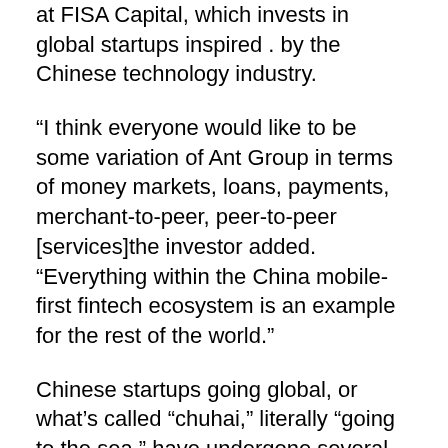at FISA Capital, which invests in global startups inspired . by the Chinese technology industry.
“I think everyone would like to be some variation of Ant Group in terms of money markets, loans, payments, merchant-to-peer, peer-to-peer [services]the investor added. “Everything within the China mobile-first fintech ecosystem is an example for the rest of the world.”
Chinese startups going global, or what’s called “chuhai,” literally “going to the sea,” have undergone several transformations over the past two decades. They went from exporting cheap electronics, creating a foreign version of something successful in